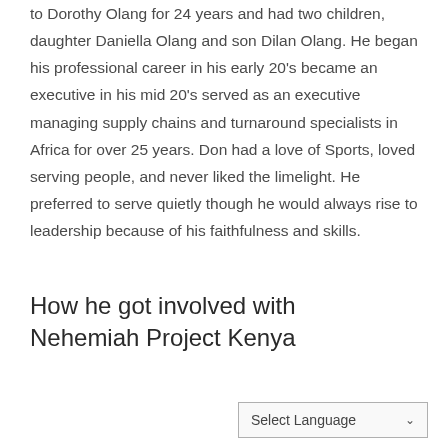to Dorothy Olang for 24 years and had two children, daughter Daniella Olang and son Dilan Olang. He began his professional career in his early 20's became an executive in his mid 20's served as an executive managing supply chains and turnaround specialists in Africa for over 25 years. Don had a love of Sports, loved serving people, and never liked the limelight. He preferred to serve quietly though he would always rise to leadership because of his faithfulness and skills.
How he got involved with Nehemiah Project Kenya
Select Language